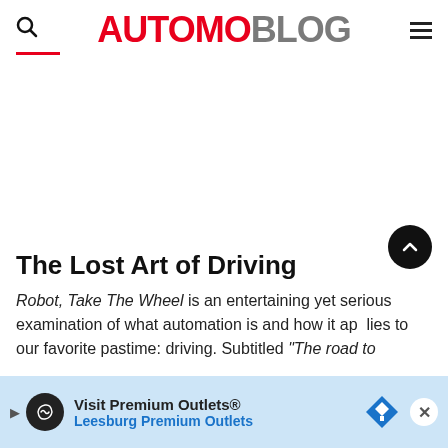AUTOMOBLOG
[Figure (other): Large white/blank advertisement space in the middle of the page]
The Lost Art of Driving
Robot, Take The Wheel is an entertaining yet serious examination of what automation is and how it applies to our favorite pastime: driving. Subtitled "The road to
[Figure (other): Bottom advertisement banner: Visit Premium Outlets® - Leesburg Premium Outlets, with play button, logo circle, and navigation diamond icon, and close X button]